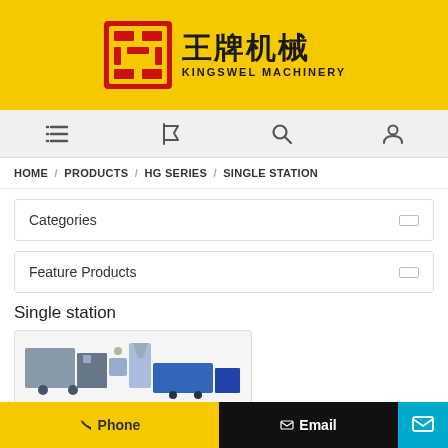[Figure (logo): Kingswel Machinery logo with red Chinese character emblem and Chinese/English text on yellow background]
[Figure (other): Navigation icon bar with list, flag, search, and user icons on light gray background]
HOME / PRODUCTS / HG SERIES / SINGLE STATION
Categories
Feature Products
Single station
[Figure (photo): Industrial blow molding machine product photo]
Phone
Email